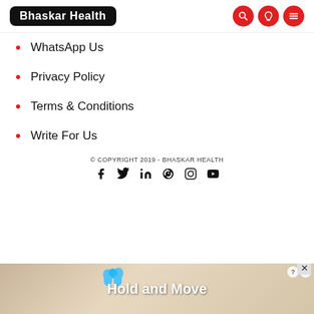Bhaskar Health
WhatsApp Us
Privacy Policy
Terms & Conditions
Write For Us
© COPYRIGHT 2019 - BHASKAR HEALTH
[Figure (other): Social media icons row: Facebook, Twitter, LinkedIn, Pinterest, Instagram, YouTube]
[Figure (screenshot): Ad banner showing 'Hold and Move' with cartoon characters on a wooden surface background]